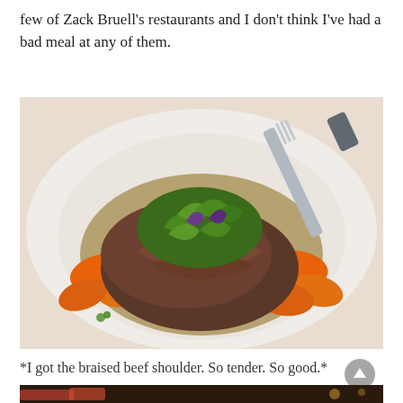few of Zack Bruell's restaurants and I don't think I've had a bad meal at any of them.
[Figure (photo): A white bowl containing braised beef shoulder with sliced carrots and topped with fresh microgreens, with serving utensils visible. The dish is plated in a restaurant style.]
*I got the braised beef shoulder. So tender. So good.*
[Figure (photo): Bottom portion of a second food/drink photo, showing what appears to be a cocktail or drink in a dark restaurant setting.]